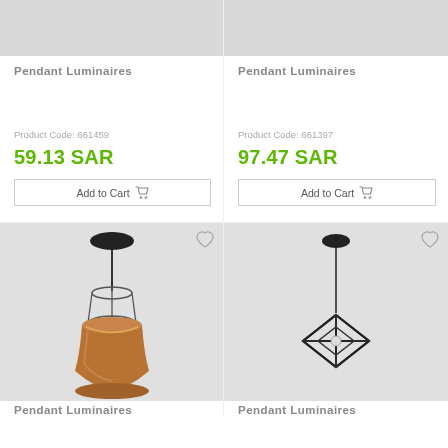[Figure (photo): Top portion of pendant luminaire product image (gray background, cropped at top)]
Pendant Luminaires
Product Code: 661459
59.13 SAR
Add to Cart
[Figure (photo): Top portion of second pendant luminaire product image (gray background, cropped at top)]
Pendant Luminaires
Product Code: 661397
97.47 SAR
Add to Cart
[Figure (photo): Pendant luminaire with copper/bronze bowl shade hanging from black ceiling mount, on gray background]
Pendant Luminaires
[Figure (photo): Pendant luminaire with black geometric cube/diamond wire frame shade hanging from black ceiling mount, on gray background]
Pendant Luminaires